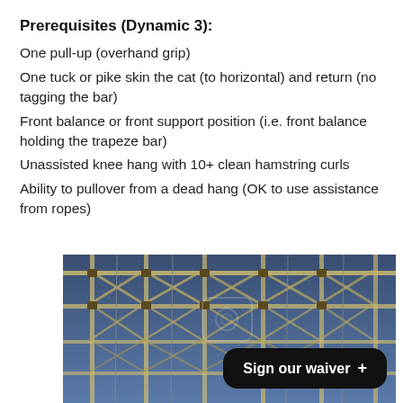Prerequisites (Dynamic 3):
One pull-up (overhand grip)
One tuck or pike skin the cat (to horizontal) and return (no tagging the bar)
Front balance or front support position (i.e. front balance holding the trapeze bar)
Unassisted knee hang with 10+ clean hamstring curls
Ability to pullover from a dead hang (OK to use assistance from ropes)
[Figure (photo): Aerial view of trapeze rig structure with metal scaffolding and ropes against a blue sky background]
Sign our waiver +